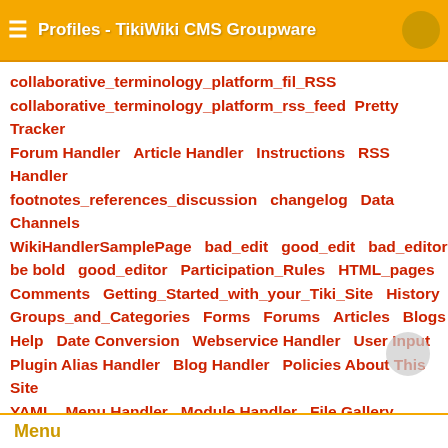Profiles - TikiWiki CMS Groupware
collaborative_terminology_platform_fil_RSS collaborative_terminology_platform_rss_feed Pretty Tracker Forum Handler Article Handler Instructions RSS Handler footnotes_references_discussion changelog Data Channels WikiHandlerSamplePage bad_edit good_edit bad_editor be bold good_editor Participation_Rules HTML_pages Comments Getting_Started_with_your_Tiki_Site History Groups_and_Categories Forms Forums Articles Blogs Help Date Conversion Webservice Handler User Input Plugin Alias Handler Blog Handler Policies About This Site YAML Menu Handler Module Handler File Gallery Handler Category Handler Wiki Handler Object References Permission Management Preference Management Tracker Handler Administration Interface Sample Profile Expose Profiles
Source
History
Comments
More ▲
Menu